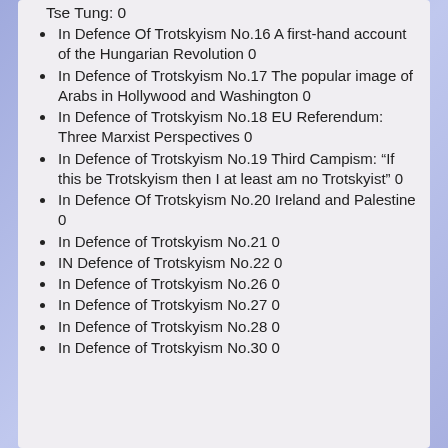Tse Tung: 0
In Defence Of Trotskyism No.16 A first-hand account of the Hungarian Revolution 0
In Defence of Trotskyism No.17 The popular image of Arabs in Hollywood and Washington 0
In Defence of Trotskyism No.18 EU Referendum: Three Marxist Perspectives 0
In Defence of Trotskyism No.19 Third Campism: “If this be Trotskyism then I at least am no Trotskyist” 0
In Defence Of Trotskyism No.20 Ireland and Palestine 0
In Defence of Trotskyism No.21 0
IN Defence of Trotskyism No.22 0
In Defence of Trotskyism No.26 0
In Defence of Trotskyism No.27 0
In Defence of Trotskyism No.28 0
In Defence of Trotskyism No.30 0